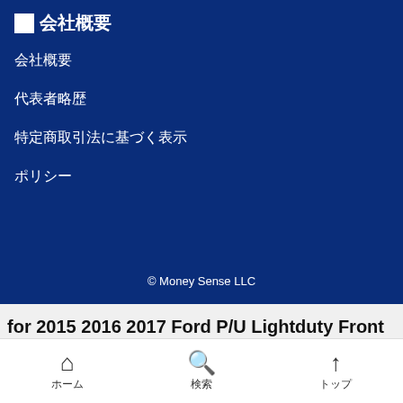■会社概要
会社概要
代表者略歴
特定商取引法に基づく表示
ポリシー
© Money Sense LLC
for 2015 2016 2017 Ford P/U Lightduty Front Left LH Bumper Bracket Outer
ホーム　検索　トップ